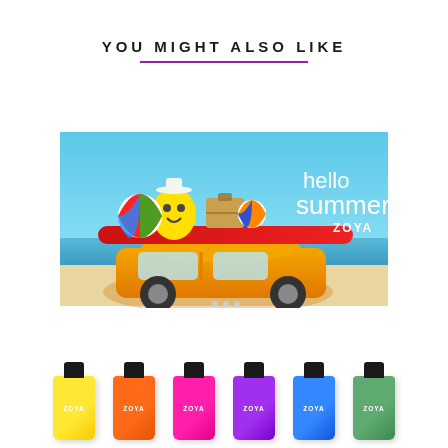YOU MIGHT ALSO LIKE
[Figure (photo): Zoya 'Hello Summer' promotional banner image showing a yellow car with beach balls, surfboard, and luggage on the roof, with ocean in background and 'hello summer ZOYA' text]
[Figure (photo): Six Zoya nail polish bottles in a row: yellow, orange, hot pink, purple, blue, and sage green colors, each with black cap and ZOYA label]